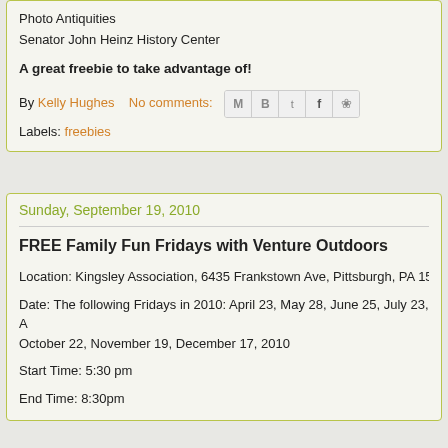Photo Antiquities
Senator John Heinz History Center
A great freebie to take advantage of!
By Kelly Hughes   No comments:
Labels: freebies
Sunday, September 19, 2010
FREE Family Fun Fridays with Venture Outdoors
Location: Kingsley Association, 6435 Frankstown Ave, Pittsburgh, PA 15
Date: The following Fridays in 2010: April 23, May 28, June 25, July 23, A October 22, November 19, December 17, 2010
Start Time: 5:30 pm
End Time: 8:30pm